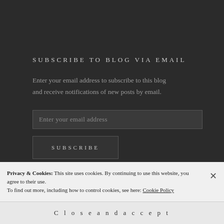SUBSCRIBE TO BLOG VIA EMAIL
Enter your email address to subscribe to this blog and receive notifications of new posts by email.
Enter your email address
SUBSCRIBE
Privacy & Cookies: This site uses cookies. By continuing to use this website, you agree to their use.
To find out more, including how to control cookies, see here: Cookie Policy
Close and accept